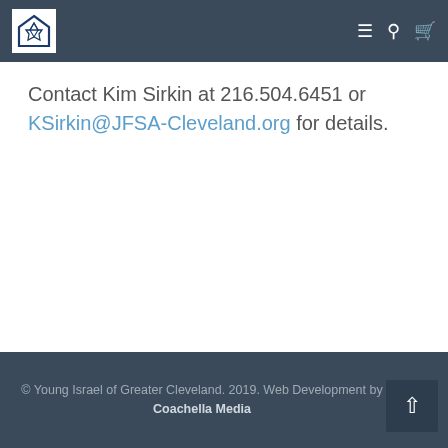[Figure (logo): Young Israel of Greater Cleveland logo — white background with blue Star of David and triangle/house shape]
Contact Kim Sirkin at 216.504.6451 or KSirkin@JFSA-Cleveland.org for details.
© Young Israel of Greater Cleveland. 2019. Web Development by Coachella Media